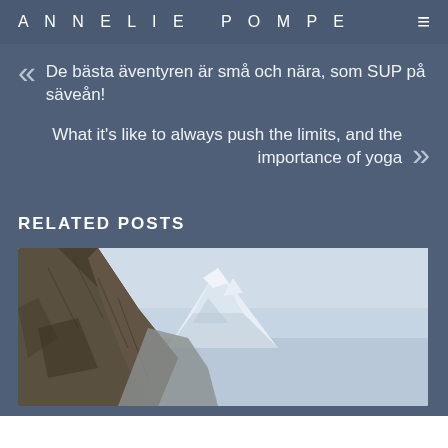ANNELIE POMPE
De bästa äventyren är små och nära, som SUP på säveån!
What it's like to always push the limits, and the importance of yoga
RELATED POSTS
[Figure (photo): Mountain landscape with rocky cliff face in foreground and snow-capped peak in background against pale blue sky]